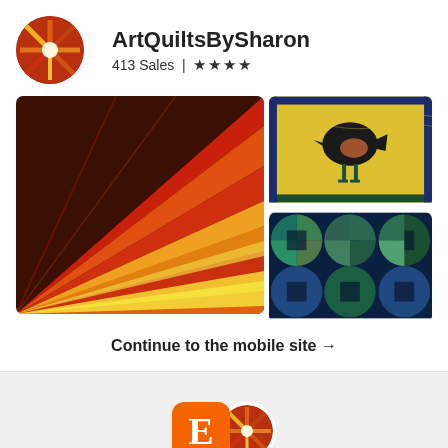ArtQuiltsBySharon
413 Sales | ★★★★
[Figure (photo): Three quilt photos: large left image of fan/sunburst quilt in reds, oranges, yellows; top right shows appliqued bird on yellow background; bottom right shows circular geometric quilt in blue and green]
Continue to the mobile site →
[Figure (logo): Etsy orange square logo with E and overlapping round shop avatar photo]
Shop update positions the